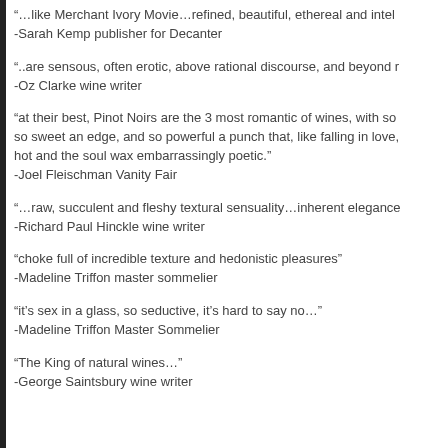“…like Merchant Ivory Movie…refined, beautiful, ethereal and intel
-Sarah Kemp publisher for Decanter
“..are sensous, often erotic, above rational discourse, and beyond r
-Oz Clarke wine writer
“at their best, Pinot Noirs are the 3 most romantic of wines, with so so sweet an edge, and so powerful a punch that, like falling in love, hot and the soul wax embarrassingly poetic.”
-Joel Fleischman Vanity Fair
“…raw, succulent and fleshy textural sensuality…inherent elegance
-Richard Paul Hinckle wine writer
“choke full of incredible texture and hedonistic pleasures”
-Madeline Triffon master sommelier
“it's sex in a glass, so seductive, it’s hard to say no…”
-Madeline Triffon Master Sommelier
“The King of natural wines…”
-George Saintsbury wine writer